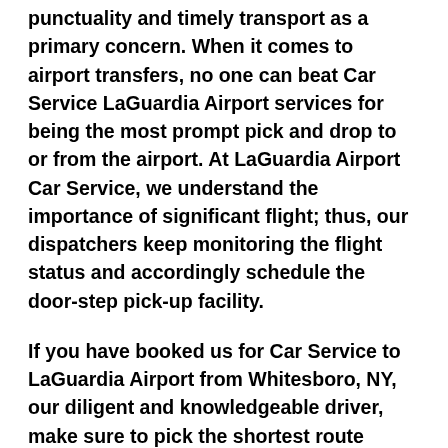punctuality and timely transport as a primary concern. When it comes to airport transfers, no one can beat Car Service LaGuardia Airport services for being the most prompt pick and drop to or from the airport. At LaGuardia Airport Car Service, we understand the importance of significant flight; thus, our dispatchers keep monitoring the flight status and accordingly schedule the door-step pick-up facility.
If you have booked us for Car Service to LaGuardia Airport from Whitesboro, NY, our diligent and knowledgeable driver, make sure to pick the shortest route possible for your convenient and timely transit. The highly skilled and talented chauffeur of Luxury Car Service LaGuardia Airport